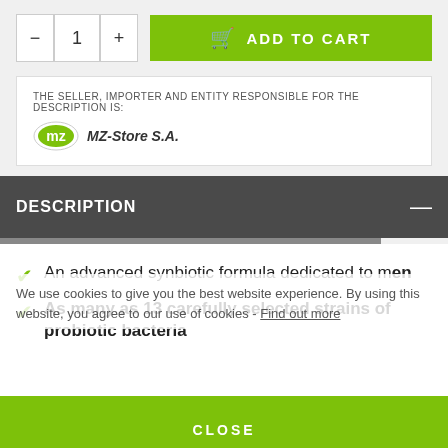[Figure (screenshot): E-commerce product page showing quantity selector, Add to Cart button, seller information box, description section header, product bullet points, cookie consent overlay, and a blue highlighted text box. A green Add to Cart bar is visible at the bottom.]
THE SELLER, IMPORTER AND ENTITY RESPONSIBLE FOR THE DESCRIPTION IS:
[Figure (logo): MZ-Store S.A. logo with stylized M in a circle]
DESCRIPTION
An advanced synbiotic formula dedicated to men
As many as 13 carefully selected strains of probiotic bacteria
Innovative capsules that protect bacteria from
We use cookies to give you the best website experience. By using this website, you agree to our use of cookies - Find out more
CLOSE
ADD TO CART